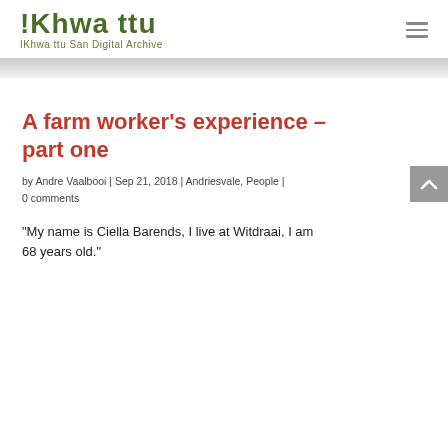!Khwa ttu — IKhwa ttu San Digital Archive
A farm worker's experience – part one
by Andre Vaalbooi | Sep 21, 2018 | Andriesvale, People | 0 comments
"My name is Ciella Barends, I live at Witdraai, I am 68 years old."